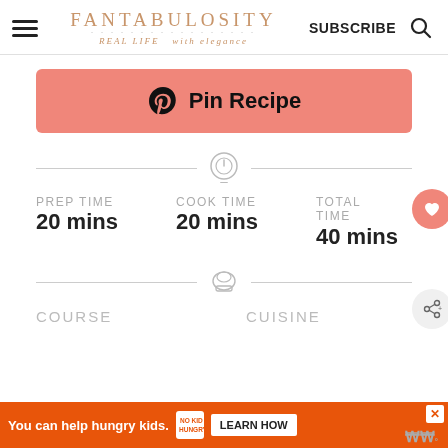FANTABULOSITY REAL LIFE with elegance SUBSCRIBE
[Figure (other): Pink Pin Recipe button with Pinterest logo]
PREP TIME 20 mins
COOK TIME 20 mins
TOTAL TIME 40 mins
COURSE
CUISINE
[Figure (other): Orange ad bar: You can help hungry kids. No Kid Hungry. LEARN HOW]